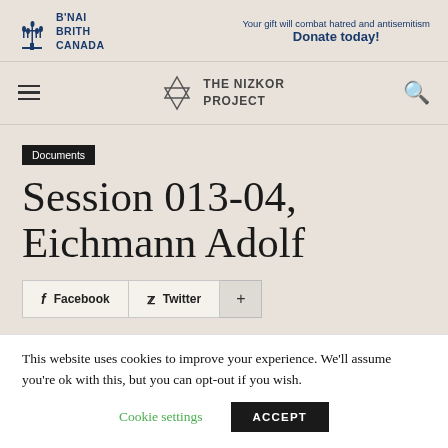[Figure (logo): B'nai Brith Canada logo with menorah icon and text]
Your gift will combat hatred and antisemitism Donate today!
THE NIZKOR PROJECT
Documents
Session 013-04, Eichmann Adolf
Facebook  Twitter  +
This website uses cookies to improve your experience. We'll assume you're ok with this, but you can opt-out if you wish.
Cookie settings  ACCEPT